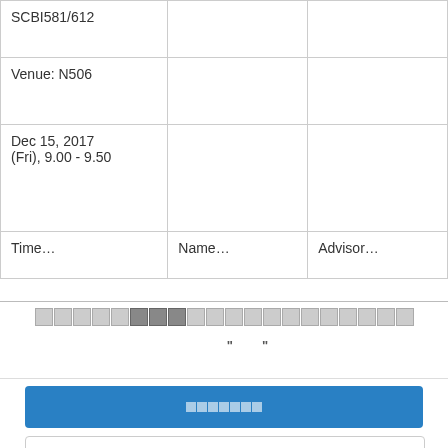|  |  |  |
| --- | --- | --- |
| SCBI581/612 |  |  |
| Venue: N506 |  |  |
| Dec 15, 2017 (Fri), 9.00 - 9.50 |  |  |
| Time | Name | Advisor |
pagination boxes
" "
button (Thai text)
button outline (Thai text)
Cookie Policy   Privacy Statement